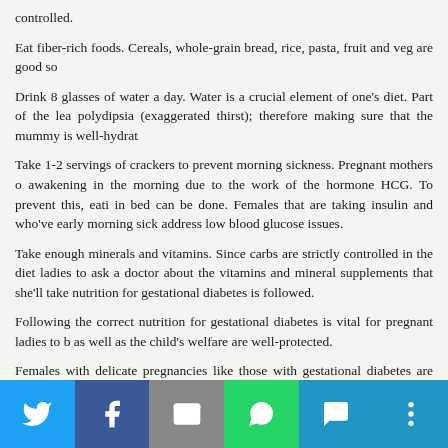controlled.
Eat fiber-rich foods. Cereals, whole-grain bread, rice, pasta, fruit and veg are good so
Drink 8 glasses of water a day. Water is a crucial element of one’s diet. Part of the lea polydipsia (exaggerated thirst); therefore making sure that the mummy is well-hydrat
Take 1-2 servings of crackers to prevent morning sickness. Pregnant mothers o awakening in the morning due to the work of the hormone HCG. To prevent this, eati in bed can be done. Females that are taking insulin and who’ve early morning sick address low blood glucose issues.
Take enough minerals and vitamins. Since carbs are strictly controlled in the diet ladies to ask a doctor about the vitamins and mineral supplements that she’ll take nutrition for gestational diabetes is followed.
Following the correct nutrition for gestational diabetes is vital for pregnant ladies to b as well as the child’s welfare are well-protected.
Females with delicate pregnancies like those with gestational diabetes are recommen regularly to stop problems.
Claire Smyth is a writer in the health field. Go Now and and check out her ge Discover the symptomsof gestational diabetes and the complications you should be av
[Figure (infographic): Social media share bar with icons for Twitter, Facebook, Email, WhatsApp, SMS, and More options]